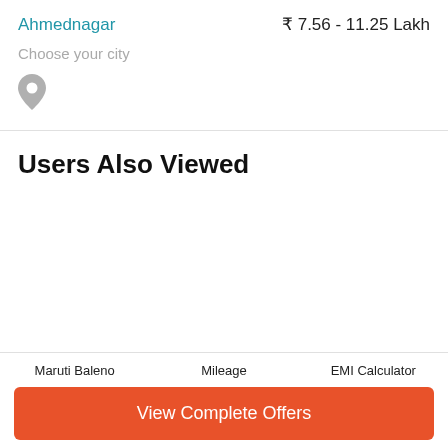Ahmednagar    ₹ 7.56 - 11.25 Lakh
Choose your city
[Figure (illustration): Location pin / map marker icon in gray]
Users Also Viewed
Maruti Baleno
Mileage
EMI Calculator
View Complete Offers